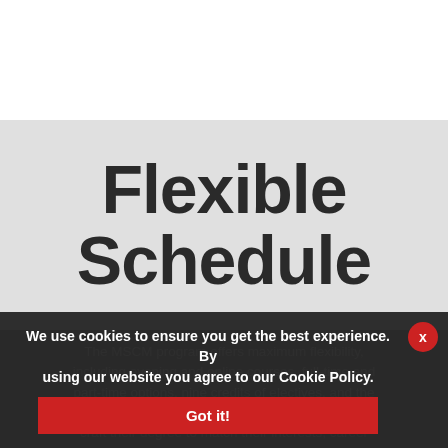Flexible Schedule
The MSCM program offers maximum flexibility, including evening and online courses, full-time and part-time options, nine credits of electives, and the ability to work while attending school. Students craft their degree to match their interests, career goals, and lifestyle. The program can be completed
We use cookies to ensure you get the best experience. By using our website you agree to our Cookie Policy.
Got it!